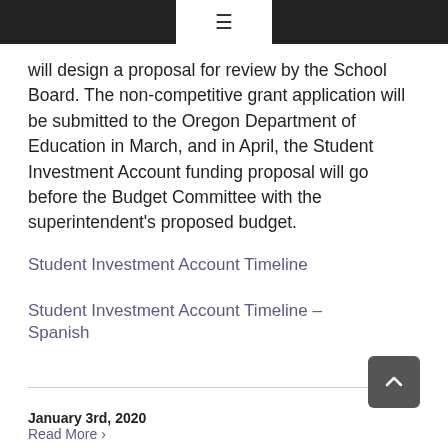≡
will design a proposal for review by the School Board. The non-competitive grant application will be submitted to the Oregon Department of Education in March, and in April, the Student Investment Account funding proposal will go before the Budget Committee with the superintendent's proposed budget.
Student Investment Account Timeline
Student Investment Account Timeline – Spanish
January 3rd, 2020
Read More ›